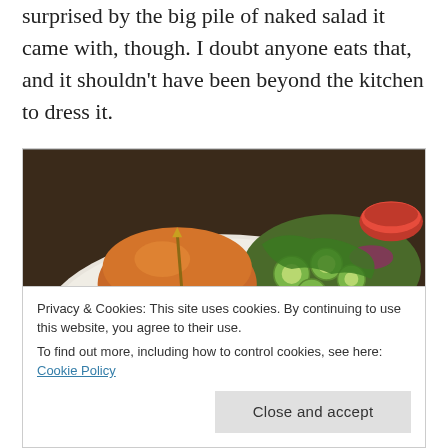surprised by the big pile of naked salad it came with, though. I doubt anyone eats that, and it shouldn't have been beyond the kitchen to dress it.
[Figure (photo): A burger on a white plate with chunky fries/potato wedges and a mixed salad with cucumber and red onion. A red bowl with sauce is visible in the background.]
Privacy & Cookies: This site uses cookies. By continuing to use this website, you agree to their use.
To find out more, including how to control cookies, see here: Cookie Policy
Close and accept